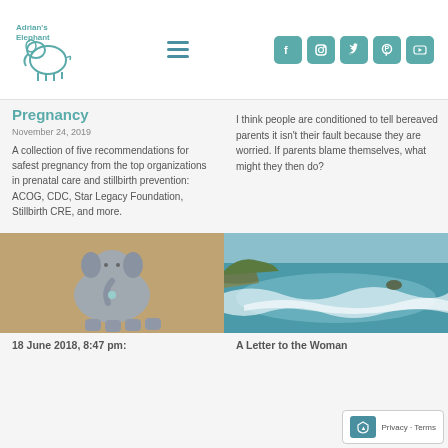Adrian's Elephant — site navigation header with logo, hamburger menu, and social icons (Facebook, Instagram, Twitter, Pinterest, YouTube)
Pregnancy
November 24, 2019
A collection of five recommendations for safest pregnancy from the top organizations in prenatal care and stillbirth prevention: ACOG, CDC, Star Legacy Foundation, Stillbirth CRE, and more.
I think people are conditioned to tell bereaved parents it isn't their fault because they are worried. If parents blame themselves, what might they then do?
[Figure (photo): A knitted grey elephant stuffed animal lying on a sandy/natural background]
[Figure (photo): Aerial view of ocean waves crashing on a rocky coastline with teal water]
18 June 2018, 8:47 pm:
A Letter to the Woman